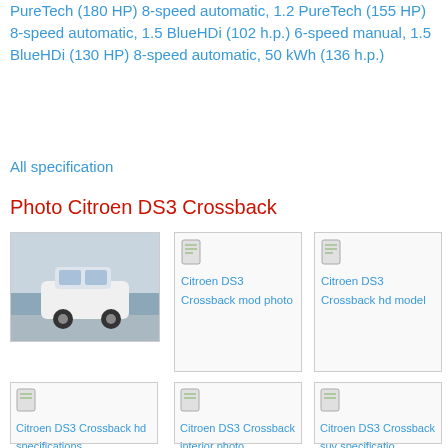PureTech (180 HP) 8-speed automatic, 1.2 PureTech (155 HP) 8-speed automatic, 1.5 BlueHDi (102 h.p.) 6-speed manual, 1.5 BlueHDi (130 HP) 8-speed automatic, 50 kWh (136 h.p.)
All specification
Photo Citroen DS3 Crossback
[Figure (photo): Citroen DS3 Crossback main photo - white SUV driving on road]
[Figure (photo): Citroen DS3 Crossback mod photo - thumbnail with icon]
[Figure (photo): Citroen DS3 Crossback hd model - thumbnail with icon]
[Figure (photo): Citroen DS3 Crossback hd specifications - thumbnail with icon]
[Figure (photo): Citroen DS3 Crossback interior photo - thumbnail with icon]
[Figure (photo): Citroen DS3 Crossback suv specifications - thumbnail with icon]